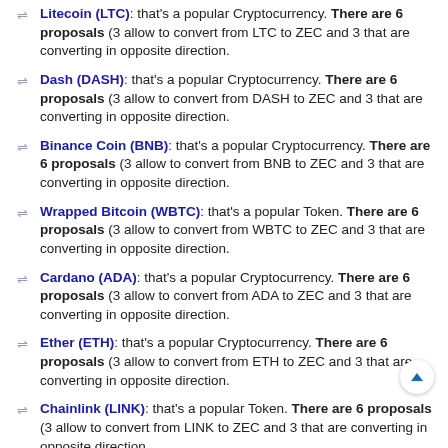Litecoin (LTC): that's a popular Cryptocurrency. There are 6 proposals (3 allow to convert from LTC to ZEC and 3 that are converting in opposite direction.
Dash (DASH): that's a popular Cryptocurrency. There are 6 proposals (3 allow to convert from DASH to ZEC and 3 that are converting in opposite direction.
Binance Coin (BNB): that's a popular Cryptocurrency. There are 6 proposals (3 allow to convert from BNB to ZEC and 3 that are converting in opposite direction.
Wrapped Bitcoin (WBTC): that's a popular Token. There are 6 proposals (3 allow to convert from WBTC to ZEC and 3 that are converting in opposite direction.
Cardano (ADA): that's a popular Cryptocurrency. There are 6 proposals (3 allow to convert from ADA to ZEC and 3 that are converting in opposite direction.
Ether (ETH): that's a popular Cryptocurrency. There are 6 proposals (3 allow to convert from ETH to ZEC and 3 that are converting in opposite direction.
Chainlink (LINK): that's a popular Token. There are 6 proposals (3 allow to convert from LINK to ZEC and 3 that are converting in opposite direction.
TrueUSD (TUSD): that's a popular Stablecoin. There are 6 proposals (3 allow to convert from TUSD to ZEC and 3 that are converting in opposite direction.
0x (ZRX): that's a popular Token. There are 6 proposals (3 allow to convert from ZEC to ZRX and 3 that are